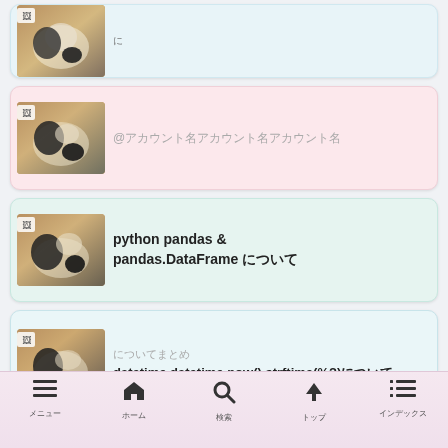[Figure (screenshot): Card with cat photo thumbnail, partial top - light blue background with small Japanese text]
[Figure (screenshot): Card with cat photo thumbnail - pink background with @mention text in Japanese]
[Figure (screenshot): Card with cat photo thumbnail - light green/teal background with text 'python pandas & pandas.DataFrame' followed by Japanese characters]
[Figure (screenshot): Card with cat photo thumbnail - very light blue background with Japanese text and 'datetime.datetime.now().strftime(%)' followed by Japanese characters]
[Figure (screenshot): Partial card at bottom, cut off]
メニュー ホーム 検索 トップ インデックス